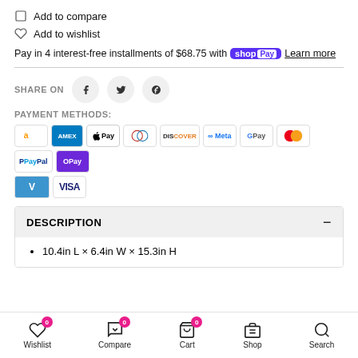Add to compare
Add to wishlist
Pay in 4 interest-free installments of $68.75 with Shop Pay  Learn more
SHARE ON
PAYMENT METHODS:
[Figure (other): Payment method icons: Amazon, Amex, Apple Pay, Diners, Discover, Meta, Google Pay, Mastercard, PayPal, OPay, Venmo, Visa]
DESCRIPTION
10.4in L × 6.4in W × 15.3in H
Wishlist 0  Compare 0  Cart 0  Shop  Search